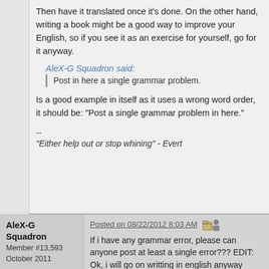Then have it translated once it's done. On the other hand, writing a book might be a good way to improve your English, so if you see it as an exercise for yourself, go for it anyway.
AleX-G Squadron said:
Post in here a single grammar problem.
Is a good example in itself as it uses a wrong word order, it should be: "Post a single grammar problem in here."
--
"Either help out or stop whining" - Evert
AleX-G Squadron
Member #13,593
October 2011
Posted on 08/22/2012 8:03 AM
If i have any grammar error, please can anyone post at least a single error??? EDIT: Ok, i will go on writting in english anyway
www.anothergames.com